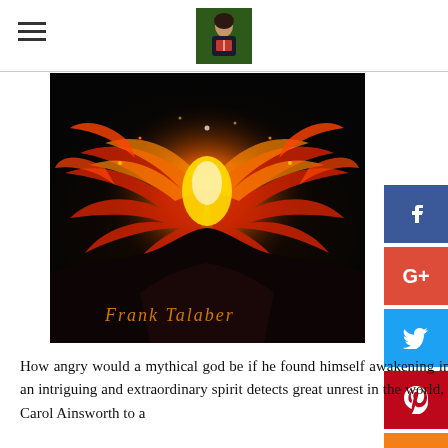[Figure (illustration): Book cover for Frank Talaber featuring a glowing phoenix bird with orange and red wings spread wide against a dark background, with the author name 'Frank Talaber' in gold text at the bottom left.]
How angry would a mythical god be if he found himself awakening inside a mortal? After a strange and inexplicable death inside a jail, an intriguing and extraordinary spirit detects great unrest in the world, and breaks his way into the jail to investigate. He enlists Detective Carol Ainsworth to a